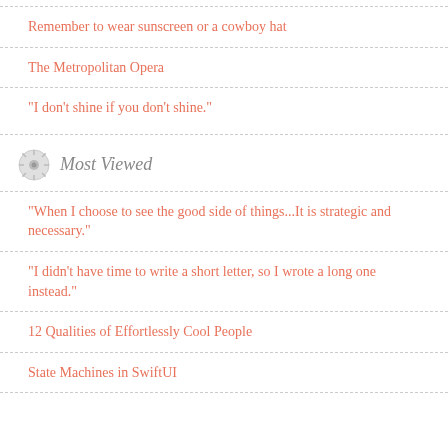Remember to wear sunscreen or a cowboy hat
The Metropolitan Opera
"I don't shine if you don't shine."
Most Viewed
"When I choose to see the good side of things...It is strategic and necessary."
"I didn't have time to write a short letter, so I wrote a long one instead."
12 Qualities of Effortlessly Cool People
State Machines in SwiftUI